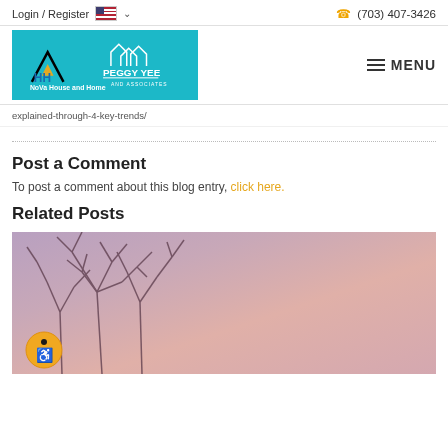Login / Register  🇺🇸 ∨   (703) 407-3426
[Figure (logo): NoVa House and Home / Peggy Yee and Associates logo on teal background]
≡ MENU
explained-through-4-key-trends/
Post a Comment
To post a comment about this blog entry, click here.
Related Posts
[Figure (photo): Winter tree branches silhouetted against a pink and purple sunset sky, with an accessibility badge in the lower left corner]